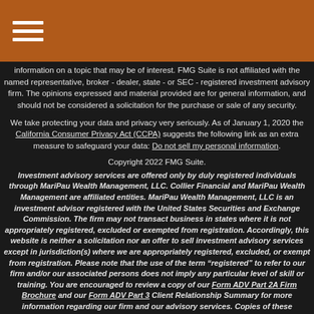[hamburger menu icon]
information on a topic that may be of interest. FMG Suite is not affiliated with the named representative, broker - dealer, state - or SEC - registered investment advisory firm. The opinions expressed and material provided are for general information, and should not be considered a solicitation for the purchase or sale of any security.
We take protecting your data and privacy very seriously. As of January 1, 2020 the California Consumer Privacy Act (CCPA) suggests the following link as an extra measure to safeguard your data: Do not sell my personal information.
Copyright 2022 FMG Suite.
Investment advisory services are offered only by duly registered individuals through MariPau Wealth Management, LLC. Collier Financial and MariPau Wealth Management are affiliated entities. MariPau Wealth Management, LLC is an investment advisor registered with the United States Securities and Exchange Commission. The firm may not transact business in states where it is not appropriately registered, excluded or exempted from registration. Accordingly, this website is neither a solicitation nor an offer to sell investment advisory services except in jurisdiction(s) where we are appropriately registered, excluded, or exempt from registration. Please note that the use of the term “registered” to refer to our firm and/or our associated persons does not imply any particular level of skill or training. You are encouraged to review a copy of our Form ADV Part 2A Firm Brochure and our Form ADV Part 3 Client Relationship Summary for more information regarding our firm and our advisory services. Copies of these